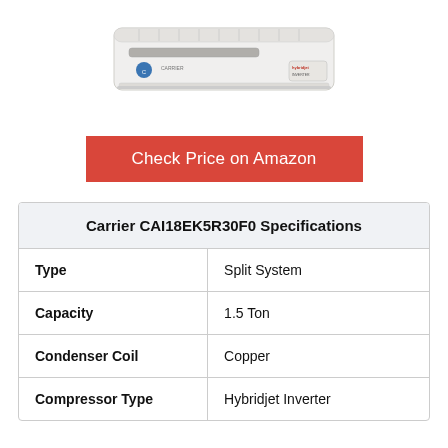[Figure (photo): Carrier split air conditioner unit, white wall-mounted indoor unit]
Check Price on Amazon
| Carrier CAI18EK5R30F0 Specifications |
| --- |
| Type | Split System |
| Capacity | 1.5 Ton |
| Condenser Coil | Copper |
| Compressor Type | Hybridjet Inverter |